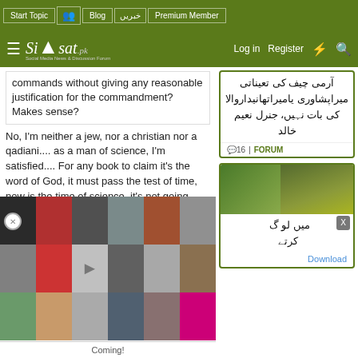Siasat.pk navigation bar with: Start Topic, Blog, خبریں, Premium Member, Log in, Register
commands without giving any reasonable justification for the commandment? Makes sense?
No, I'm neither a jew, nor a christian nor a qadiani.... as a man of science, I'm satisfied.... For any book to claim it's the word of God, it must pass the test of time, now is the time of science, it's not going against it, unlike the old/new testaments (the bible) it doesn't make 5 out of 2+2...... ientific the rest
Coming!
[Figure (screenshot): Urdu text card with comment count 16 | FORUM label]
[Figure (screenshot): Second news card with image and Urdu text, X close button and Download link]